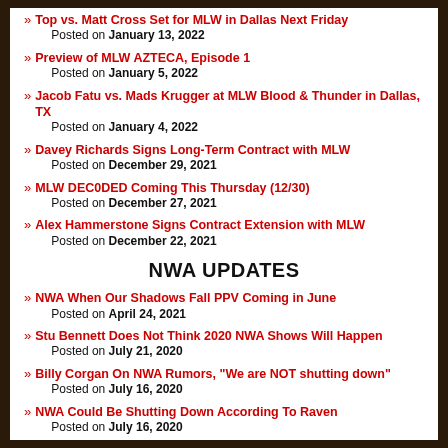» Top vs. Matt Cross Set for MLW in Dallas Next Friday
Posted on January 13, 2022
» Preview of MLW AZTECA, Episode 1
Posted on January 5, 2022
» Jacob Fatu vs. Mads Krugger at MLW Blood & Thunder in Dallas, TX
Posted on January 4, 2022
» Davey Richards Signs Long-Term Contract with MLW
Posted on December 29, 2021
» MLW DEC0DED Coming This Thursday (12/30)
Posted on December 27, 2021
» Alex Hammerstone Signs Contract Extension with MLW
Posted on December 22, 2021
NWA UPDATES
» NWA When Our Shadows Fall PPV Coming in June
Posted on April 24, 2021
» Stu Bennett Does Not Think 2020 NWA Shows Will Happen
Posted on July 21, 2020
» Billy Corgan On NWA Rumors, "We are NOT shutting down"
Posted on July 16, 2020
» NWA Could Be Shutting Down According To Raven
Posted on July 16, 2020
» NWA Vice President David Lagana Resigns Over Allegations
Posted on June 19, 2020
» NWA Girl Powrrr (5/29): Cyber Bullying & Mental Health